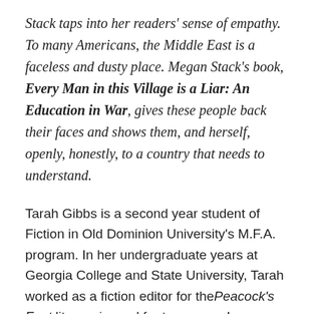Stack taps into her readers' sense of empathy. To many Americans, the Middle East is a faceless and dusty place. Megan Stack's book, Every Man in this Village is a Liar: An Education in War, gives these people back their faces and shows them, and herself, openly, honestly, to a country that needs to understand.
Tarah Gibbs is a second year student of Fiction in Old Dominion University's M.F.A. program. In her undergraduate years at Georgia College and State University, Tarah worked as a fiction editor for the Peacock's Feet literary journal for two years. In December 2011, Tarah had one of her fiction short